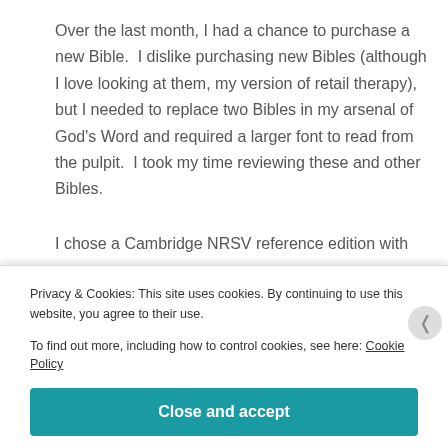Over the last month, I had a chance to purchase a new Bible.  I dislike purchasing new Bibles (although I love looking at them, my version of retail therapy), but I needed to replace two Bibles in my arsenal of God's Word and required a larger font to read from the pulpit.  I took my time reviewing these and other Bibles.
I chose a Cambridge NRSV reference edition with
Privacy & Cookies: This site uses cookies. By continuing to use this website, you agree to their use.
To find out more, including how to control cookies, see here: Cookie Policy
Close and accept